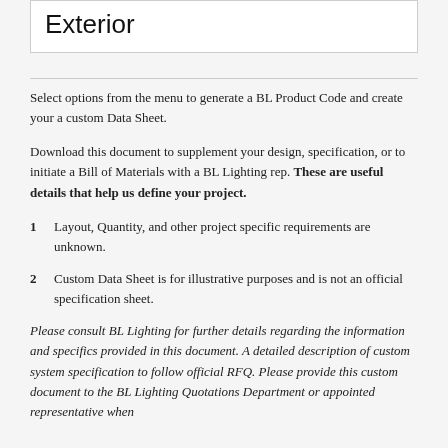Exterior
Select options from the menu to generate a BL Product Code and create your a custom Data Sheet.
Download this document to supplement your design, specification, or to initiate a Bill of Materials with a BL Lighting rep. These are useful details that help us define your project.
1   Layout, Quantity, and other project specific requirements are unknown.
2   Custom Data Sheet is for illustrative purposes and is not an official specification sheet.
Please consult BL Lighting for further details regarding the information and specifics provided in this document. A detailed description of custom system specification to follow official RFQ. Please provide this custom document to the BL Lighting Quotations Department or appointed representative when